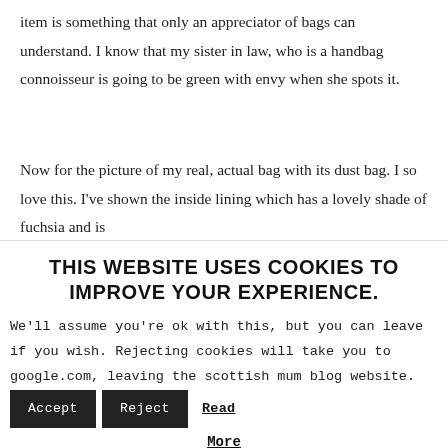item is something that only an appreciator of bags can understand.  I know that my sister in law, who is a handbag connoisseur is going to be green with envy when she spots it.
Now for the picture of my real, actual bag with its dust bag.  I so love this.  I've shown the inside lining which has a lovely shade of  fuchsia and is
THIS WEBSITE USES COOKIES TO IMPROVE YOUR EXPERIENCE.
We'll assume you're ok with this, but you can leave if you wish. Rejecting cookies will take you to google.com, leaving the scottish mum blog website.  Accept  Reject  Read More